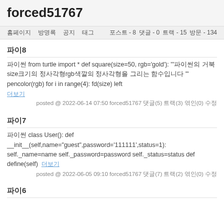forced51767
홈페이지  방명록  공지  태그  포스트 - 8  댓글 - 0  트랙 - 15  방문 - 134
파이8
파이썬 from turtle import * def square(size=50, rgb='gold'): '"파이썬의 거북size크기의 정사각형rgb색깔의 정사각형을 그리는 함수입니다 '" pencolor(rgb) for i in range(4): fd(size) left
더보기
posted @ 2022-06-14 07:50 forced51767 댓글(5) 트랙(3) 엮인(0) 수정
파이7
파이썬 class User(): def __init__(self,name="guest",password='111111',status=1): self._name=name self._password=password self._status=status def define(self)  더보기
posted @ 2022-06-05 09:10 forced51767 댓글(7) 트랙(2) 엮인(0) 수정
파이6